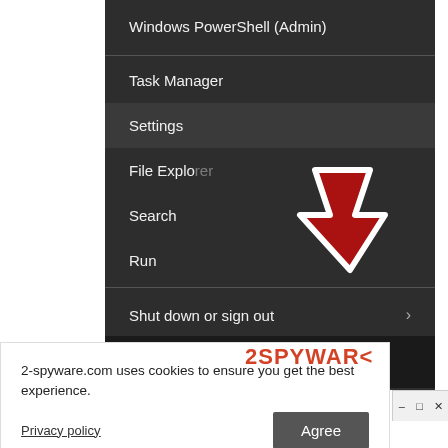[Figure (screenshot): Windows 10 right-click context menu showing options: Windows PowerShell (Admin), Task Manager, Settings (highlighted), File Explorer, Search, Run, Shut down or sign out (with right arrow), Desktop. A red arrow annotation points to Settings. The taskbar is visible at the bottom with the Windows logo, search icon, and 'Type here to search' text. A 2SPYWARE watermark overlays the bottom of the menu. Below the screenshot is a cookie consent banner reading '2-spyware.com uses cookies to ensure you get the best experience.' with a Privacy policy link and an Agree button.]